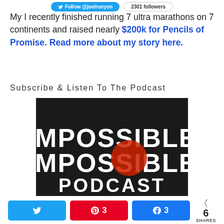Follow @joelrunyon | 2301 followers
My I recently finished running 7 ultra marathons on 7 continents and raised nearly $200k for Pencils of Promise. Read more about my story here.
Subscribe & Listen To The Podcast
[Figure (logo): Impossible Podcast logo — dark background with large white bold text reading IMPOSSIBLE stacked above PODCAST]
Twitter share button | Pinterest 3 | Facebook 3 | 6 SHARES